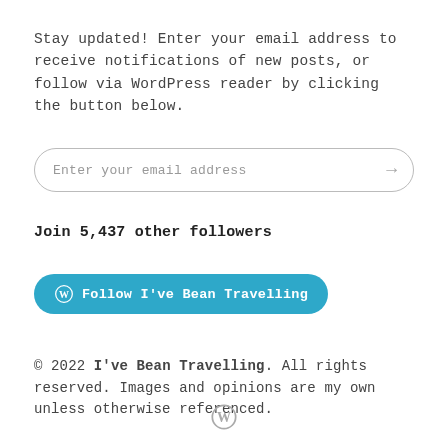Stay updated! Enter your email address to receive notifications of new posts, or follow via WordPress reader by clicking the button below.
Enter your email address
Join 5,437 other followers
Follow I've Bean Travelling
© 2022 I've Bean Travelling. All rights reserved. Images and opinions are my own unless otherwise referenced.